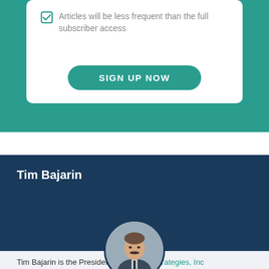Articles will be less frequent than the full subscriber access
SIGN UP NOW
Tim Bajarin
[Figure (photo): Circular headshot photo of Tim Bajarin, a man with a mustache wearing a suit and tie]
Tim Bajarin is the President of Creative Strategies, Inc